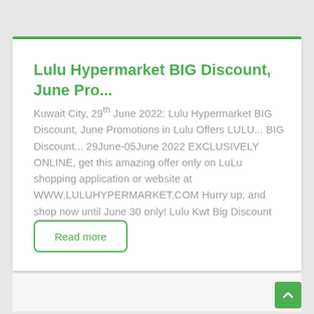Lulu Hypermarket BIG Discount, June Pro...
Kuwait City, 29th June 2022: Lulu Hypermarket BIG Discount, June Promotions in Lulu Offers LULU... BIG Discount... 29June-05June 2022 EXCLUSIVELY ONLINE, get this amazing offer only on LuLu shopping application or website at WWW.LULUHYPERMARKET.COM Hurry up, and shop now until June 30 only! Lulu Kwt Big Discount
Read more
June 29, 2022   0